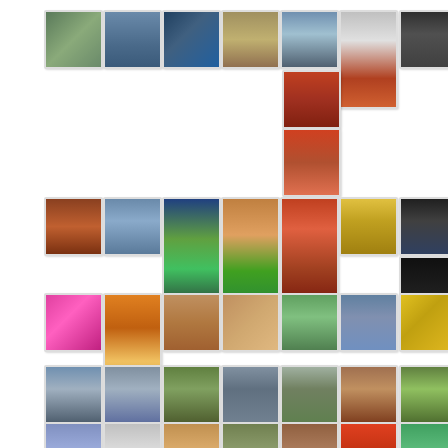[Figure (photo): Grid of photo thumbnails arranged in 5 rows showing various outdoor scenes, signs, storefronts, buildings, artwork/murals including traffic cones, signs, gyros restaurant signage, buildings and architectural photos, organized in a collage-style layout with white borders on each thumbnail]